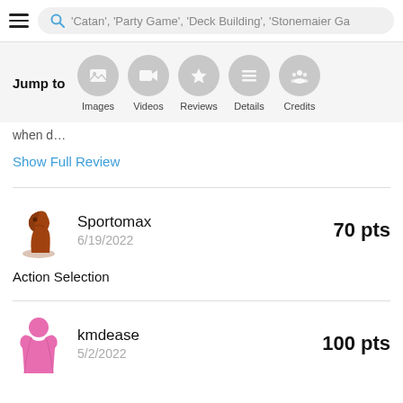Search: 'Catan', 'Party Game', 'Deck Building', 'Stonemaier Ga'
[Figure (infographic): Jump to navigation with icons for Images, Videos, Reviews, Details, Credits]
when d…
Show Full Review
Sportomax
6/19/2022
70 pts
Action Selection
kmdease
5/2/2022
100 pts